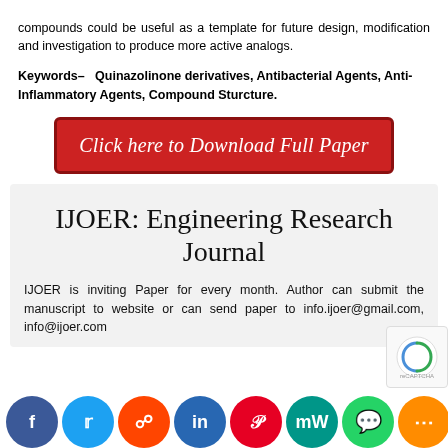compounds could be useful as a template for future design, modification and investigation to produce more active analogs.
Keywords— Quinazolinone derivatives, Antibacterial Agents, Anti-Inflammatory Agents, Compound Sturcture.
[Figure (other): Red download button: Click here to Download Full Paper]
IJOER: Engineering Research Journal
IJOER is inviting Paper for every month. Author can submit the manuscript to website or can send paper to info.ijoer@gmail.com, info@ijoer.com
[Figure (other): Social media sharing bar with icons for Facebook, Twitter, Reddit, LinkedIn, Pinterest, MW, WhatsApp, and more]